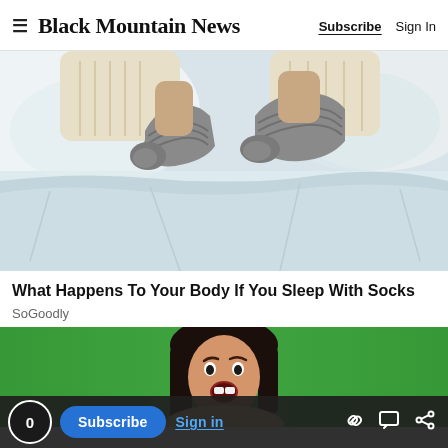Black Mountain News | Subscribe | Sign In
[Figure (photo): Overhead view of legs and feet wearing grey wool/knit socks peeking out from white bedding on a bed, with cream/white knit blanket visible at top]
What Happens To Your Body If You Sleep With Socks
SoGoodly
[Figure (photo): Advertisement banner with green background showing a woman with dark hair making a surprised expression]
0 | Subscribe | Sign in | link icon | comment icon | share icon